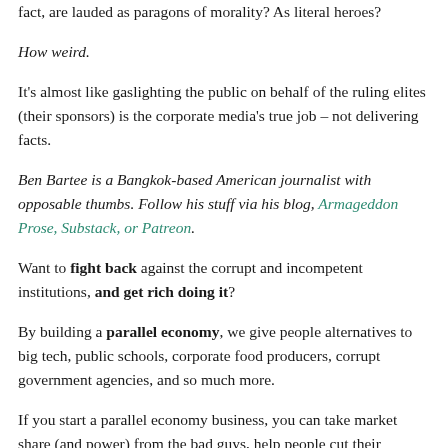fact, are lauded as paragons of morality? As literal heroes?
How weird.
It's almost like gaslighting the public on behalf of the ruling elites (their sponsors) is the corporate media's true job – not delivering facts.
Ben Bartee is a Bangkok-based American journalist with opposable thumbs. Follow his stuff via his blog, Armageddon Prose, Substack, or Patreon.
Want to fight back against the corrupt and incompetent institutions, and get rich doing it?
By building a parallel economy, we give people alternatives to big tech, public schools, corporate food producers, corrupt government agencies, and so much more.
If you start a parallel economy business, you can take market share (and power) from the bad guys, help people cut their